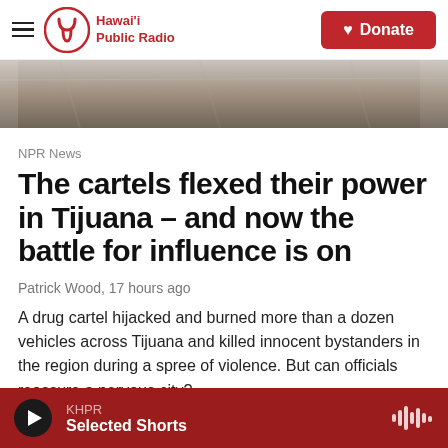Hawai'i Public Radio — Donate
[Figure (photo): Grayscale aerial or ground-level photo of a dry rocky or sandy landscape, used as hero image for the article.]
NPR News
The cartels flexed their power in Tijuana – and now the battle for influence is on
Patrick Wood, 17 hours ago
A drug cartel hijacked and burned more than a dozen vehicles across Tijuana and killed innocent bystanders in the region during a spree of violence. But can officials reassure a nervous city?
KHPR — Selected Shorts